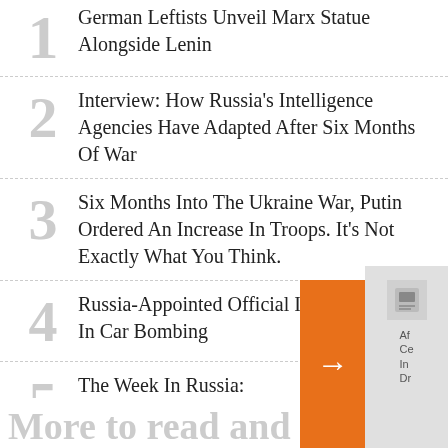1 German Leftists Unveil Marx Statue Alongside Lenin
2 Interview: How Russia's Intelligence Agencies Have Adapted After Six Months Of War
3 Six Months Into The Ukraine War, Putin Ordered An Increase In Troops. It's Not Exactly What You Think.
4 Russia-Appointed Official In Ukraine Killed In Car Bombing
5 The Week In Russia: Sovere... Suffering
More to read and wa...